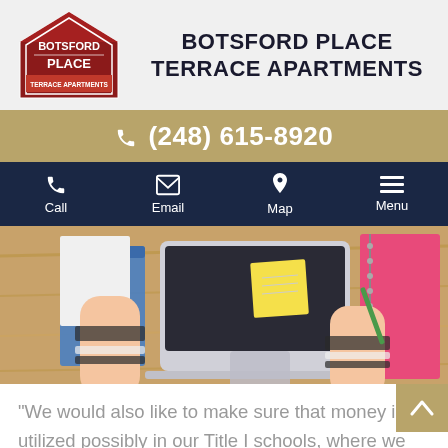[Figure (logo): Botsford Place Terrace Apartments logo — house-shaped red badge with white text]
BOTSFORD PLACE TERRACE APARTMENTS
(248) 615-8920
[Figure (photo): Overhead photo of person studying at wooden desk with laptop, sticky notes, notebooks]
"We would also like to make sure that money is utilized possibly in our Title I schools, where we have the highest percentage of students who are eligible for free and reduced lunch," Goodrum informed. "That is likely going to be our focus and making sure we can provide those